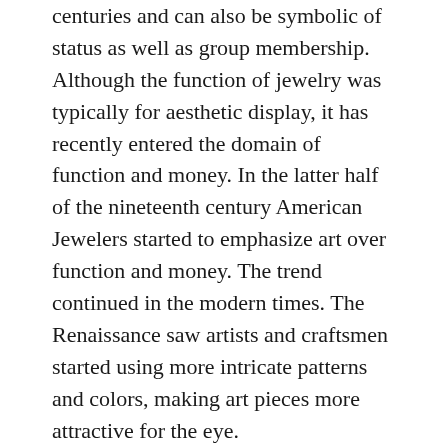centuries and can also be symbolic of status as well as group membership. Although the function of jewelry was typically for aesthetic display, it has recently entered the domain of function and money. In the latter half of the nineteenth century American Jewelers started to emphasize art over function and money. The trend continued in the modern times. The Renaissance saw artists and craftsmen started using more intricate patterns and colors, making art pieces more attractive for the eye.
As well as an individual ornament it also serves as an expression of fashion. While most people wear jewelry as a fashion accessory, some items are designed to express emotion or communicate a